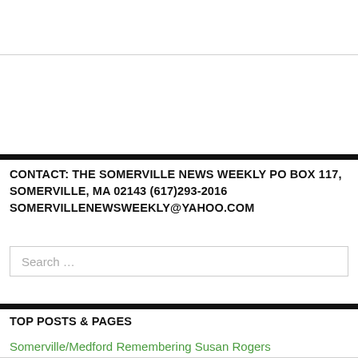CONTACT: THE SOMERVILLE NEWS WEEKLY PO BOX 117, SOMERVILLE, MA 02143 (617)293-2016 SOMERVILLENEWSWEEKLY@YAHOO.COM
TOP POSTS & PAGES
Somerville/Medford Remembering Susan Rogers